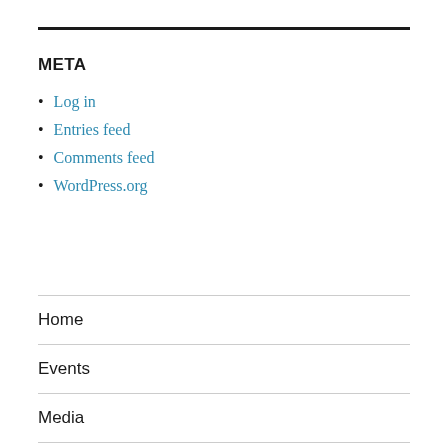META
Log in
Entries feed
Comments feed
WordPress.org
Home
Events
Media
Blog